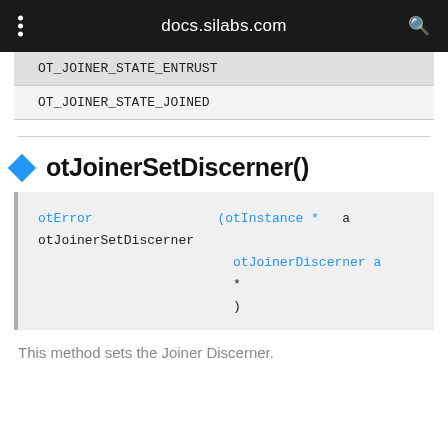docs.silabs.com
| OT_JOINER_STATE_ENTRUST |
| OT_JOINER_STATE_JOINED |
otJoinerSetDiscerner()
[Figure (screenshot): Code block showing function signature: otError otJoinerSetDiscerner(otInstance * aInstance, otJoinerDiscerner * aDiscerner)]
This method sets the Joiner Discerner.